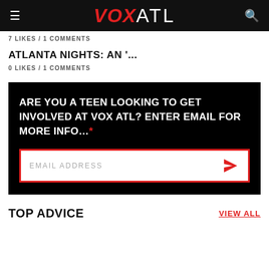VOX ATL
7 LIKES / 1 COMMENTS
ATLANTA NIGHTS: AN '...
0 LIKES / 1 COMMENTS
ARE YOU A TEEN LOOKING TO GET INVOLVED AT VOX ATL? ENTER EMAIL FOR MORE INFO...*
EMAIL ADDRESS
TOP ADVICE
VIEW ALL